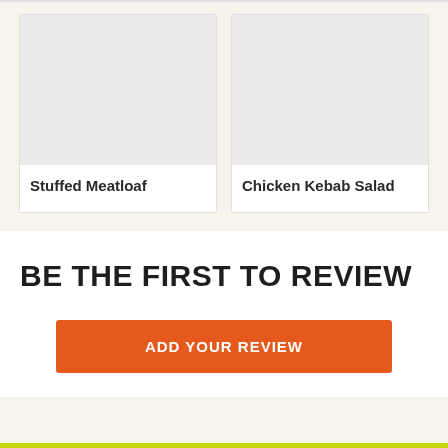[Figure (photo): Placeholder image for Stuffed Meatloaf recipe card with light gray background]
Stuffed Meatloaf
[Figure (photo): Placeholder image for Chicken Kebab Salad recipe card with light gray background]
Chicken Kebab Salad
BE THE FIRST TO REVIEW
ADD YOUR REVIEW